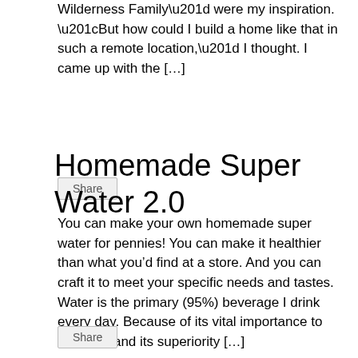Wilderness Family” were my inspiration. “But how could I build a home like that in such a remote location,” I thought. I came up with the […]
Share
Homemade Super Water 2.0
You can make your own homemade super water for pennies! You can make it healthier than what you’d find at a store. And you can craft it to meet your specific needs and tastes. Water is the primary (95%) beverage I drink every day. Because of its vital importance to the body and its superiority […]
Share